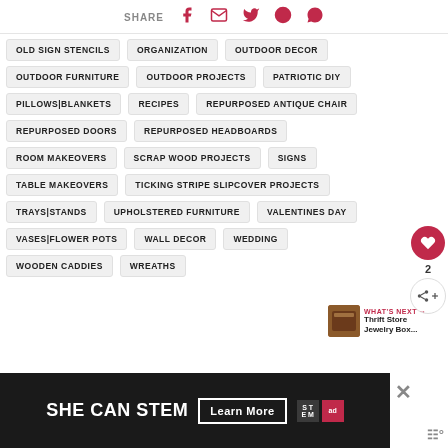SHARE
OLD SIGN STENCILS
ORGANIZATION
OUTDOOR DECOR
OUTDOOR FURNITURE
OUTDOOR PROJECTS
PATRIOTIC DIY
PILLOWS|BLANKETS
RECIPES
REPURPOSED ANTIQUE CHAIR
REPURPOSED DOORS
REPURPOSED HEADBOARDS
ROOM MAKEOVERS
SCRAP WOOD PROJECTS
SIGNS
TABLE MAKEOVERS
TICKING STRIPE SLIPCOVER PROJECTS
TRAYS|STANDS
UPHOLSTERED FURNITURE
VALENTINES DAY
VASES|FLOWER POTS
WALL DECOR
WEDDING
WOODEN CADDIES
WREATHS
WHAT'S NEXT → Thrift Store Jewelry Box...
[Figure (infographic): SHE CAN STEM Learn More advertisement banner with STEM and Ad Council logos]